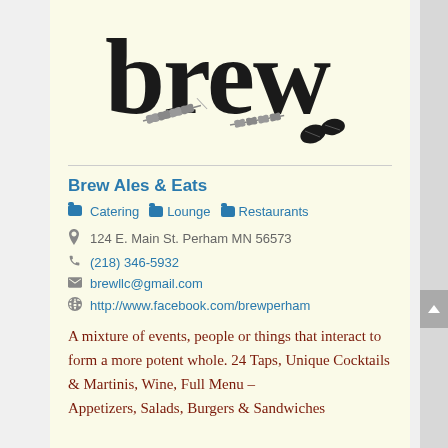[Figure (logo): Brew Ales & Eats logo — large hand-stamped style text 'brew' in black with wheat stalks and coffee beans illustrated beneath]
Brew Ales & Eats
Catering   Lounge   Restaurants
124 E. Main St. Perham MN 56573
(218) 346-5932
brewllc@gmail.com
http://www.facebook.com/brewperham
A mixture of events, people or things that interact to form a more potent whole. 24 Taps, Unique Cocktails & Martinis, Wine, Full Menu – Appetizers, Salads, Burgers & Sandwiches